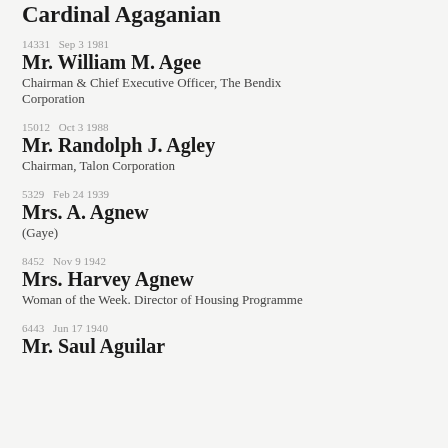Cardinal Agaganian
14331  Sep 3 1981
Mr. William M. Agee
Chairman & Chief Executive Officer, The Bendix Corporation
15012  Oct 3 1988
Mr. Randolph J. Agley
Chairman, Talon Corporation
5329  Feb 24 1939
Mrs. A. Agnew
(Gaye)
8452  Nov 9 1942
Mrs. Harvey Agnew
Woman of the Week. Director of Housing Programme
6443  Jun 17 1940
Mr. Saul Aguilar